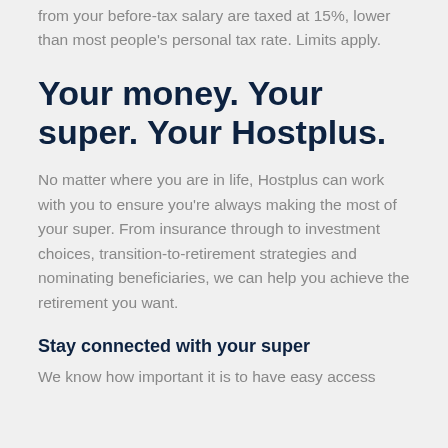from your before-tax salary are taxed at 15%, lower than most people's personal tax rate. Limits apply.
Your money. Your super. Your Hostplus.
No matter where you are in life, Hostplus can work with you to ensure you're always making the most of your super. From insurance through to investment choices, transition-to-retirement strategies and nominating beneficiaries, we can help you achieve the retirement you want.
Stay connected with your super
We know how important it is to have easy access